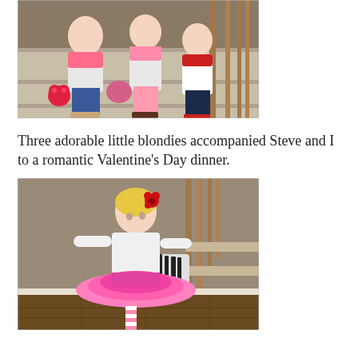[Figure (photo): Three children dressed in Valentine's Day outfits on stairs, holding heart-shaped bags]
Three adorable little blondies accompanied Steve and I to a romantic Valentine's Day dinner.
[Figure (photo): A young blonde girl with a red flower hair clip, wearing a white long-sleeve shirt and a pink tutu skirt with pink and white striped leggings, spinning on a hardwood floor near stairs]